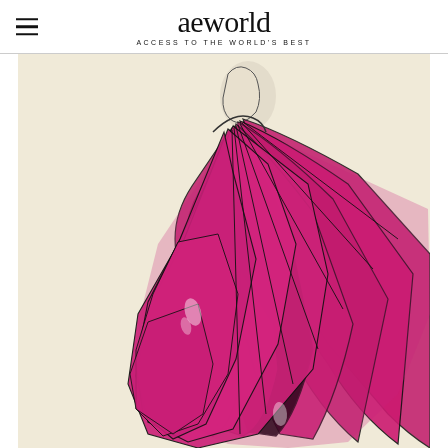aeworld ACCESS TO THE WORLD'S BEST
[Figure (illustration): Fashion illustration of a figure wearing a dramatic layered magenta/fuchsia cape or gown, rendered in a minimalist style on a cream/beige background. The garment fans out in layered panels from the figure's shoulders downward, with fine black outlines separating each layer. The face and neck are lightly sketched. The overall composition shows only the upper torso and the sweeping fabric below.]